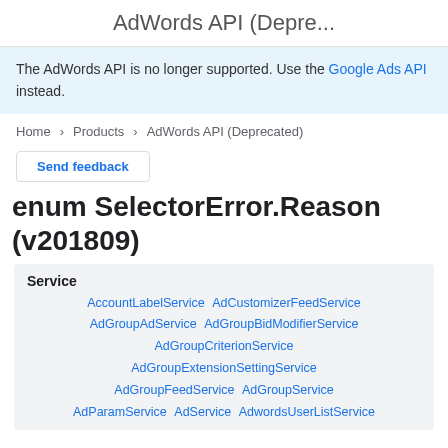AdWords API (Depre...
The AdWords API is no longer supported. Use the Google Ads API instead.
Home > Products > AdWords API (Deprecated)
Send feedback
enum SelectorError.Reason (v201809)
| Service |
| --- |
| AccountLabelService AdCustomizerFeedService |
| AdGroupAdService AdGroupBidModifierService |
| AdGroupCriterionService |
| AdGroupExtensionSettingService |
| AdGroupFeedService AdGroupService |
| AdParamService AdService AdwordsUserListService |